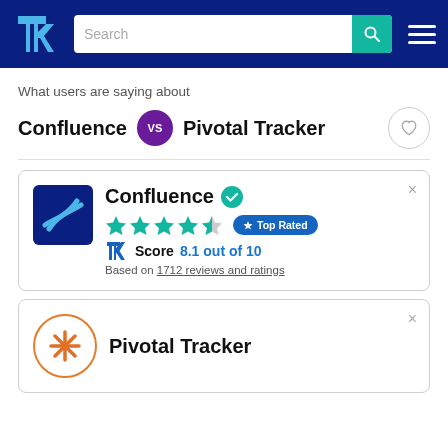TrustRadius navigation bar with search
What users are saying about
Confluence vs Pivotal Tracker
[Figure (screenshot): Confluence product card with logo, 4.5-star rating, Top Rated badge, TR Score 8.1 out of 10, based on 1712 reviews and ratings]
[Figure (screenshot): Pivotal Tracker product card with logo (partial view)]